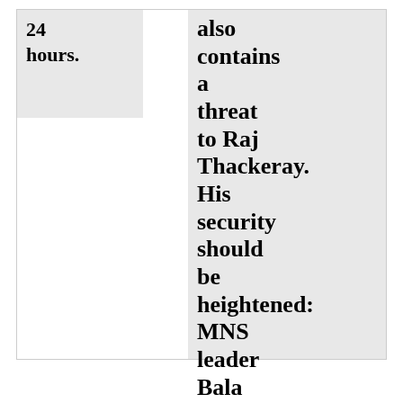24 hours.
also contains a threat to Raj Thackeray. His security should be heightened: MNS leader Bala Nandgaonkar